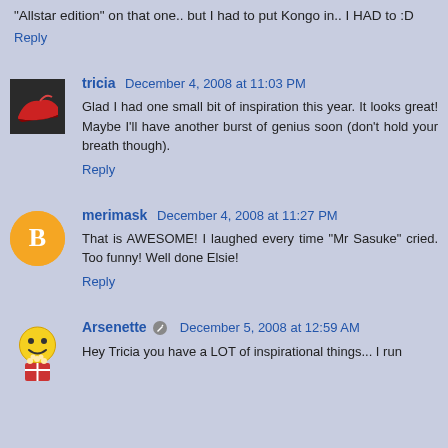"Allstar edition" on that one.. but I had to put Kongo in.. I HAD to :D
Reply
tricia  December 4, 2008 at 11:03 PM
Glad I had one small bit of inspiration this year. It looks great! Maybe I'll have another burst of genius soon (don't hold your breath though).
Reply
merimask  December 4, 2008 at 11:27 PM
That is AWESOME! I laughed every time "Mr Sasuke" cried. Too funny! Well done Elsie!
Reply
Arsenette  December 5, 2008 at 12:59 AM
Hey Tricia you have a LOT of inspirational things... I run